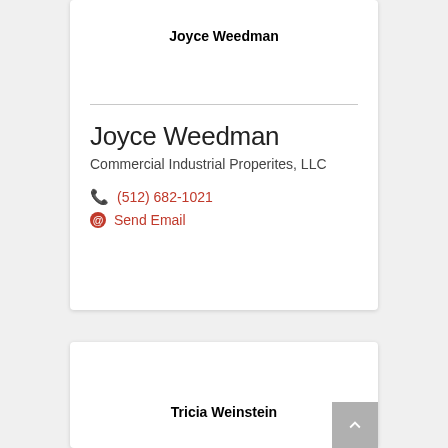Joyce Weedman
Joyce Weedman
Commercial Industrial Properites, LLC
(512) 682-1021
Send Email
Tricia Weinstein